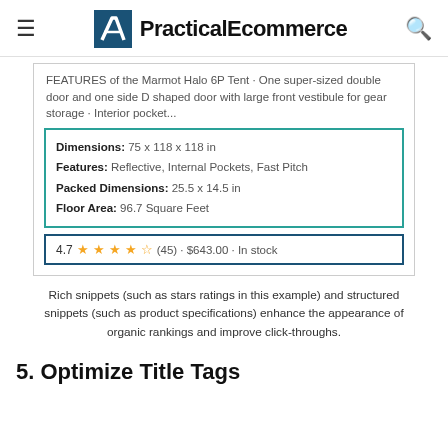≡  PracticalEcommerce  🔍
[Figure (screenshot): Google search result snippet for Marmot Halo 6P Tent showing structured data: Dimensions 75x118x118 in, Features: Reflective, Internal Pockets, Fast Pitch, Packed Dimensions: 25.5x14.5 in, Floor Area: 96.7 Square Feet. Rating: 4.7 stars (45), $643.00, In stock.]
Rich snippets (such as stars ratings in this example) and structured snippets (such as product specifications) enhance the appearance of organic rankings and improve click-throughs.
5. Optimize Title Tags